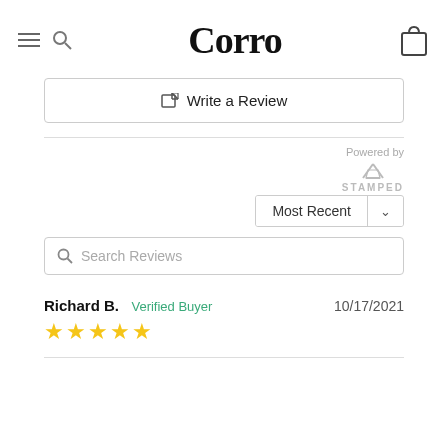Corro
✎ Write a Review
Powered by STAMPED
Most Recent ∨
Search Reviews
Richard B.  Verified Buyer  10/17/2021  ★★★★★